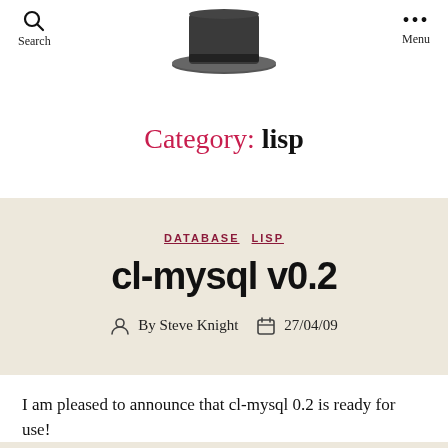Search  Menu
[Figure (illustration): Top hat illustration used as site logo]
Category: lisp
DATABASE  LISP
cl-mysql v0.2
By Steve Knight  27/04/09
I am pleased to announce that cl-mysql 0.2 is ready for use!